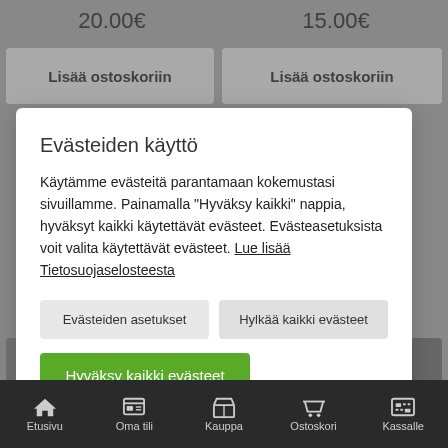20.00€
15.00€
Lisää ostoskoriin
Lisää ostoskoriin
Evästeiden käyttö
Käytämme evästeitä parantamaan kokemustasi sivuillamme. Painamalla "Hyväksy kaikki" nappia, hyväksyt kaikki käytettävät evästeet. Evästeasetuksista voit valita käytettävät evästeet. Lue lisää Tietosuojaselosteesta
Evästeiden asetukset
Hylkää kaikki evästeet
Hyväksy kaikki evästeet
Avaimenperä Amore Fiude
KoiraleluVetolettti
Etusivu  Oma tili  Kauppa  Ostoskori  Kassalle